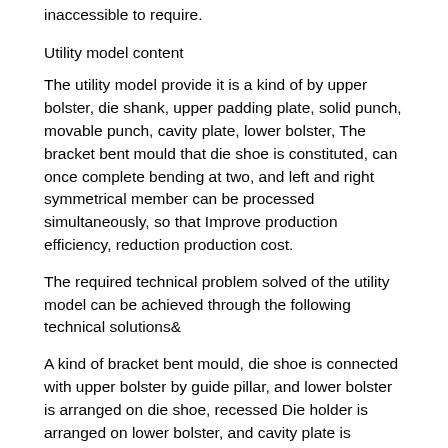inaccessible to require.
Utility model content
The utility model provide it is a kind of by upper bolster, die shank, upper padding plate, solid punch, movable punch, cavity plate, lower bolster, The bracket bent mould that die shoe is constituted, can once complete bending at two, and left and right symmetrical member can be processed simultaneously, so that Improve production efficiency, reduction production cost.
The required technical problem solved of the utility model can be achieved through the following technical solutions&
A kind of bracket bent mould, die shoe is connected with upper bolster by guide pillar, and lower bolster is arranged on die shoe, recessed Die holder is arranged on lower bolster, and cavity plate is arranged on die socket, has baffle plate to be connected and be arranged on lower bolster with cavity plate, upper bolster Lower section be provided with lower bolster, lower bolster solid punch, inner guiding post be installed, movable punch is installed on inner guiding post, material is taken off Plate is connected